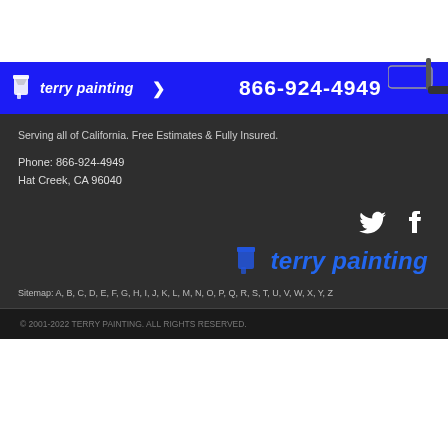[Figure (logo): Terry Painting banner with blue background, logo icon, brand name, arrow, phone number 866-924-4949, and paint roller illustration]
Serving all of California. Free Estimates & Fully Insured.
Phone: 866-924-4949
Hat Creek, CA 96040
[Figure (logo): Terry Painting footer logo with paint brush icon and blue italic text, plus Twitter and Facebook social icons]
Sitemap: A, B, C, D, E, F, G, H, I, J, K, L, M, N, O, P, Q, R, S, T, U, V, W, X, Y, Z
© 2001-2022 TERRY PAINTING. ALL RIGHTS RESERVED.